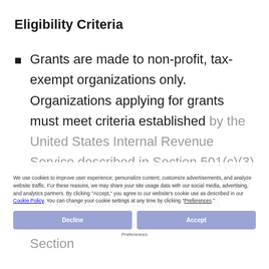Eligibility Criteria
Grants are made to non-profit, tax-exempt organizations only. Organizations applying for grants must meet criteria established by the United States Internal Revenue Service described in Section 501(c)(3) of the Internal Revenue Code of 1968 and be classified as other than a private foundation under the terms of Section